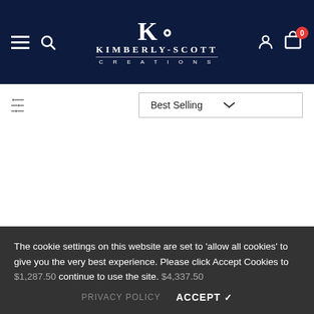Kimberly-Scott Creations — Navigation header with hamburger menu, search, logo, user icon, and cart (0)
[Figure (screenshot): Filter/sort bar with slider filter icon on left and 'Best Selling' dropdown on right]
The cookie settings on this website are set to 'allow all cookies' to give you the very best experience. Please click Accept Cookies to continue to use the site.
$1,287.50   $4,337.50
PRIVACY POLICY   ACCEPT ✔